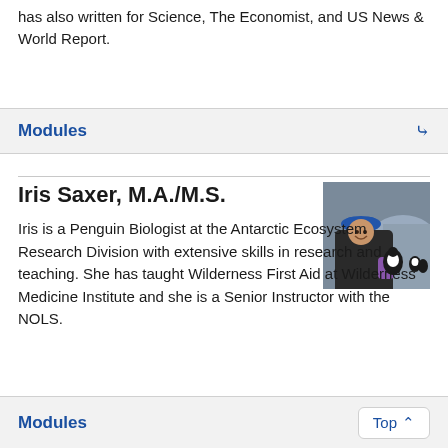has also written for Science, The Economist, and US News & World Report.
Modules
Iris Saxer, M.A./M.S.
[Figure (photo): Photo of Iris Saxer outdoors in cold-weather gear with a blue hat, holding a penguin, with rocky terrain and other penguins in the background.]
Iris is a Penguin Biologist at the Antarctic Ecosystem Research Division with extensive skills in research and teaching. She has taught Wilderness First Aid at Wilderness Medicine Institute and she is a Senior Instructor with the NOLS.
Modules